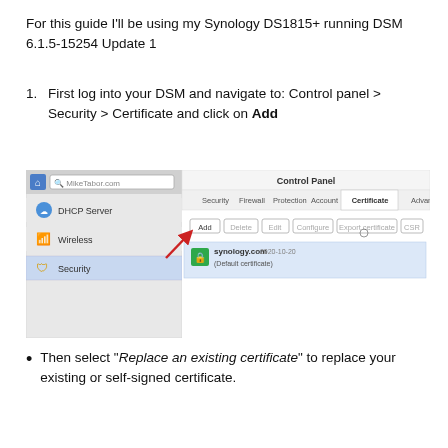For this guide I'll be using my Synology DS1815+ running DSM 6.1.5-15254 Update 1
First log into your DSM and navigate to: Control panel > Security > Certificate and click on Add
[Figure (screenshot): Synology DSM Control Panel screenshot showing the Certificate tab with Add, Delete, Edit, Configure, Export certificate, CSR buttons. A red arrow points to the Add button. The left sidebar shows DHCP Server, Wireless, and Security (selected). A certificate entry for synology.com (Default certificate) is listed.]
Then select "Replace an existing certificate" to replace your existing or self-signed certificate.